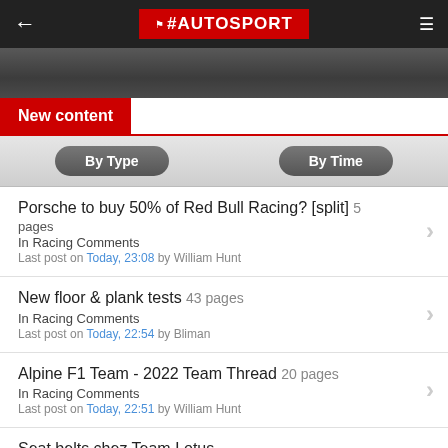AUTOSPORT
New content
By Type
By Time
Porsche to buy 50% of Red Bull Racing? [split] 5 pages
In Racing Comments
Last post on Today, 23:08 by William Hunt
New floor & plank tests 43 pages
In Racing Comments
Last post on Today, 22:54 by Bliman
Alpine F1 Team - 2022 Team Thread 20 pages
In Racing Comments
Last post on Today, 22:51 by William Hunt
Seat belts chez Team Lotus
In The Nostalgia Forum
Last post on Today, 22:45 by MarkBisset